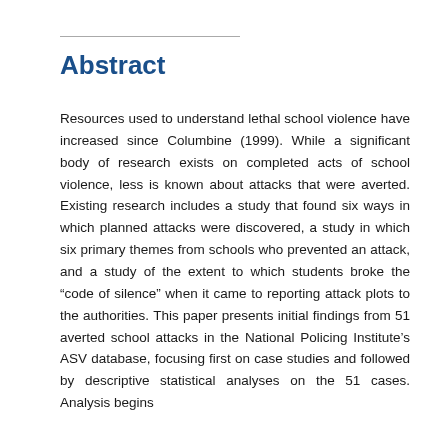Abstract
Resources used to understand lethal school violence have increased since Columbine (1999). While a significant body of research exists on completed acts of school violence, less is known about attacks that were averted. Existing research includes a study that found six ways in which planned attacks were discovered, a study in which six primary themes from schools who prevented an attack, and a study of the extent to which students broke the “code of silence” when it came to reporting attack plots to the authorities. This paper presents initial findings from 51 averted school attacks in the National Policing Institute’s ASV database, focusing first on case studies and followed by descriptive statistical analyses on the 51 cases. Analysis begins